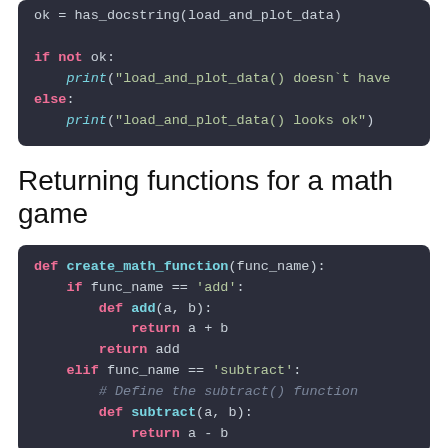[Figure (screenshot): Code snippet showing: ok = has_docstring(load_and_plot_data), if not ok: print(...), else: print(...)]
Returning functions for a math game
[Figure (screenshot): Code snippet showing def create_math_function(func_name): with if/elif branches for add and subtract]